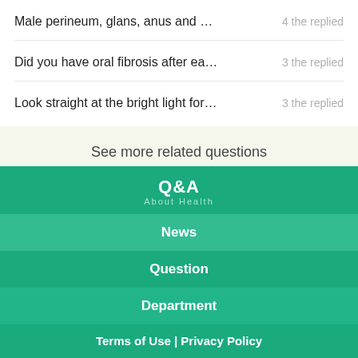Male perineum, glans, anus and …   4 the replied
Did you have oral fibrosis after ea…   3 the replied
Look straight at the bright light for…   3 the replied
See more related questions
[Figure (logo): Q&A About Health logo in white text on teal background]
News
Question
Department
Terms of Use | Privacy Policy